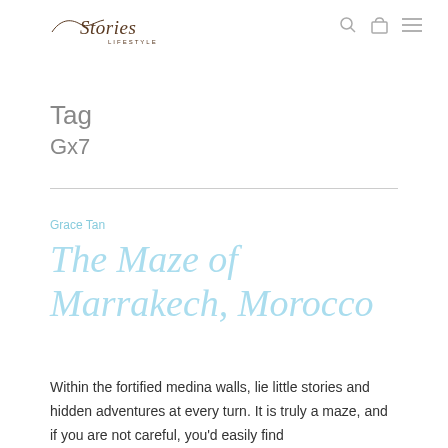Stories Lifestyle [logo] [search] [bag] [menu]
Tag
Gx7
Grace Tan
The Maze of Marrakech, Morocco
Within the fortified medina walls, lie little stories and hidden adventures at every turn. It is truly a maze, and if you are not careful, you'd easily find